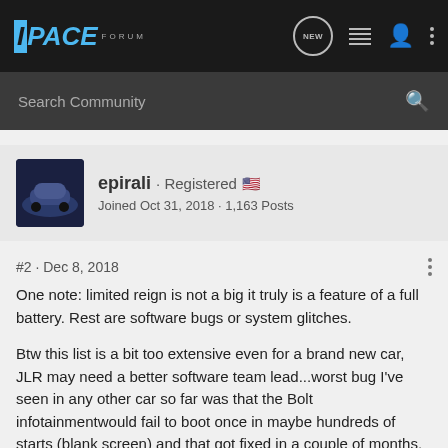I-PACE FORUM
Search Community
epirali · Registered 🇺🇸
Joined Oct 31, 2018 · 1,163 Posts
#2 · Dec 8, 2018
One note: limited reign is not a big it truly is a feature of a full battery. Rest are software bugs or system glitches.
Btw this list is a bit too extensive even for a brand new car, JLR may need a better software team lead...worst bug I've seen in any other car so far was that the Bolt infotainmentwould fail to boot once in maybe hundreds of starts (blank screen) and that got fixed in a couple of months. But even that had a reboot by holding two buttons for 20 seconds and it worked.